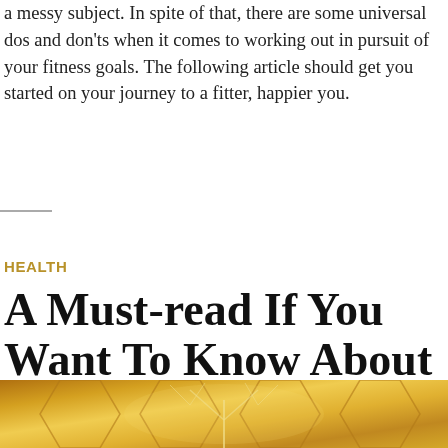a messy subject. In spite of that, there are some universal dos and don'ts when it comes to working out in pursuit of your fitness goals. The following article should get you started on your journey to a fitter, happier you.
HEALTH
A Must-read If You Want To Know About Nutrition
Posted on August 30, 2019 by Wyatt Prescott / 0 Comment
[Figure (illustration): Golden/yellow artistic illustration with tree-like patterns on a honeycomb background]